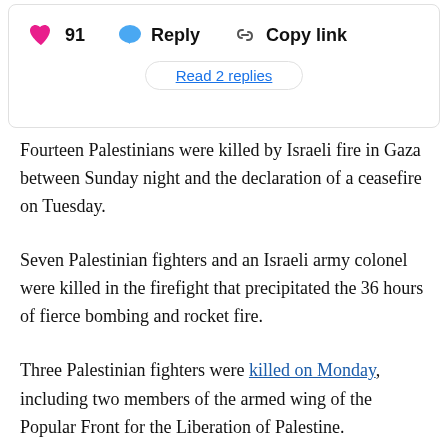[Figure (screenshot): Social media interaction bar showing heart icon with 91 likes, Reply button with speech bubble icon, and Copy link button with link icon, followed by a 'Read 2 replies' button.]
Fourteen Palestinians were killed by Israeli fire in Gaza between Sunday night and the declaration of a ceasefire on Tuesday.
Seven Palestinian fighters and an Israeli army colonel were killed in the firefight that precipitated the 36 hours of fierce bombing and rocket fire.
Three Palestinian fighters were killed on Monday, including two members of the armed wing of the Popular Front for the Liberation of Palestine.
One of them, Muhammad Zakariya al-Tatari, 27, was among the approximately 1,000 Palestinian refugees who fled to Gaza from Yarmouk camp near Damascus after it became a besieged arena of fighting in the context of the Syrian civil